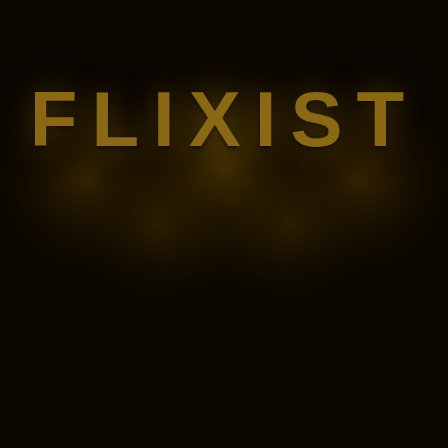[Figure (logo): Flixist logo — large bold gold/dark-yellow text on black background with glowing light spots effect]
ABOUT   CONTACT US
[Figure (infographic): Social media icons: Facebook (f), Twitter (bird), YouTube (play button), RSS feed]
© Flixist 2021. All Rights Reserved.